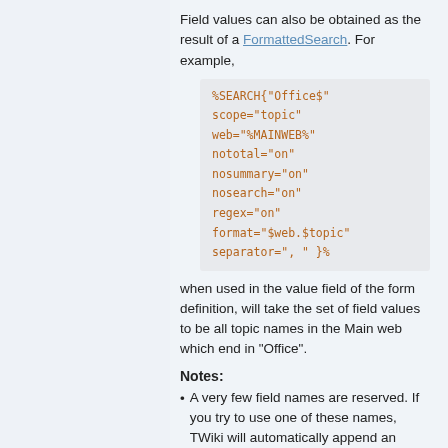Field values can also be obtained as the result of a FormattedSearch. For example,
%SEARCH{"Office$" scope="topic" web="%MAINWEB%" nototal="on" nosummary="on" nosearch="on" regex="on" format="$web.$topic" separator=", " }%
when used in the value field of the form definition, will take the set of field values to be all topic names in the Main web which end in "Office".
Notes:
A very few field names are reserved. If you try to use one of these names, TWiki will automatically append an